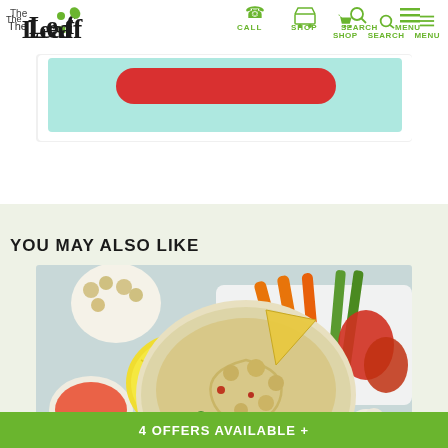[Figure (logo): The Leaf logo with green leaf icon, followed by navigation icons for CALL, SHOP, SEARCH, MENU in green]
[Figure (photo): Teal/mint colored banner with a red rounded-rectangle button]
YOU MAY ALSO LIKE
[Figure (photo): Photo of hummus in a white bowl with chickpeas on top, a tortilla chip dipped in, surrounded by vegetables (carrots, celery, red peppers), lemon half, spices, and garlic]
4 OFFERS AVAILABLE +